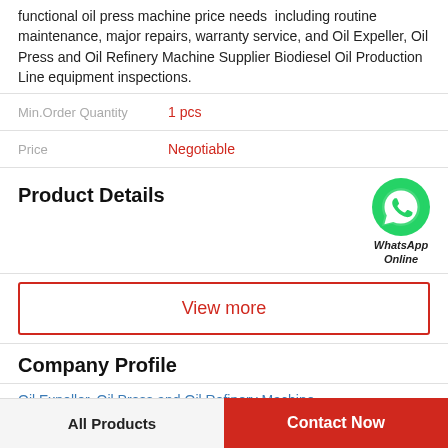functional oil press machine price needs  including routine maintenance, major repairs, warranty service, and Oil Expeller, Oil Press and Oil Refinery Machine Supplier Biodiesel Oil Production Line equipment inspections.
Min.Order Quantity: 1 pcs
Price: Negotiable
Product Details
[Figure (logo): WhatsApp Online green phone icon with label 'WhatsApp Online']
View more
Company Profile
Oil Expeller, Oil Press and Oil Refinery Machine
All Products | Contact Now